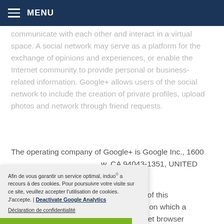MENU
communicate with each other and interact in a virtual space. A social network may serve as a platform for the exchange of opinions and experiences, or enable the Internet community to provide personal or business-related information. Google+ allows users of the social network to include the creation of private profiles, upload photos and network through friend requests.
The operating company of Google+ is Google Inc., 1600 [Amphitheatre Parkway, Mountain Vie]w, CA 94043-1351, UNITED [STATES OF AMERICA.]
[On the in]dividual pages of this [website, the data protection] controller and on which a [Google+ function is integra]ted, the Internet browser
Afin de vous garantir un service optimal, induo© a recours à des cookies. Pour poursuivre votre visite sur ce site, veuillez accepter l'utilisation de cookies. J'accepte. | Deactivate Google Analytics
Déclaration de confidentialité
Ok